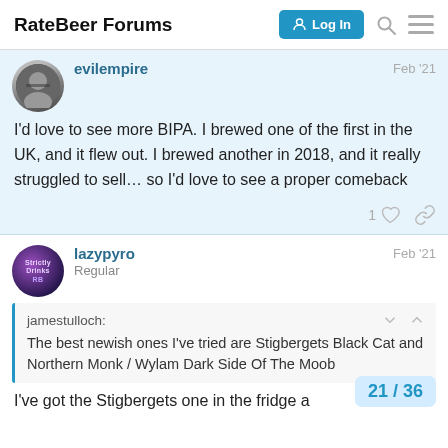RateBeer Forums
evilempire  Feb '21
I'd love to see more BIPA. I brewed one of the first in the UK, and it flew out. I brewed another in 2018, and it really struggled to sell… so I'd love to see a proper comeback
lazypyro  Regular  Feb '21
jamestulloch:
The best newish ones I've tried are Stigbergets Black Cat and Northern Monk / Wylam Dark Side Of The Moob
I've got the Stigbergets one in the fridge a
21 / 36